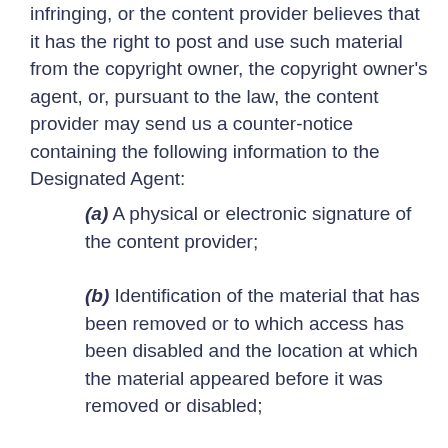infringing, or the content provider believes that it has the right to post and use such material from the copyright owner, the copyright owner's agent, or, pursuant to the law, the content provider may send us a counter-notice containing the following information to the Designated Agent:
(a) A physical or electronic signature of the content provider;
(b) Identification of the material that has been removed or to which access has been disabled and the location at which the material appeared before it was removed or disabled;
(c) A statement that the content provider has a good faith belief that the material was removed or disabled as a result of mistake or misidentification of